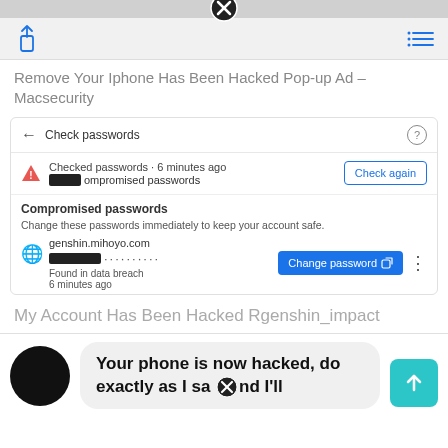[Figure (screenshot): Gray top browser bar with close (X) button centered at top]
[Figure (screenshot): Browser toolbar with share icon on left and menu icon on right]
Remove Your Iphone Has Been Hacked Pop-up Ad – Macsecurity
[Figure (screenshot): Chrome password check panel showing back arrow, 'Check passwords' label, question mark, warning triangle, redacted number of compromised passwords, 'Check again' button, site genshin.mihoyo.com, redacted username, dots password, 'Found in data breach 6 minutes ago', 'Change password' button, three-dot menu, 'Compromised passwords' section header, 'Change these passwords immediately to keep your account safe.' instruction]
My Account Has Been Hacked Rgenshin_impact
[Figure (screenshot): Chat message section: black avatar circle, speech bubble saying 'Your phone is now hacked, do exactly as I sa[X]nd I'll', teal upload/share button]